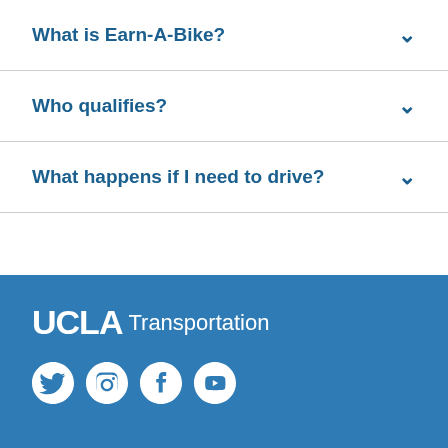What is Earn-A-Bike?
Who qualifies?
What happens if I need to drive?
[Figure (logo): UCLA Transportation logo with social media icons (Twitter, Instagram, Facebook, YouTube) on blue background]